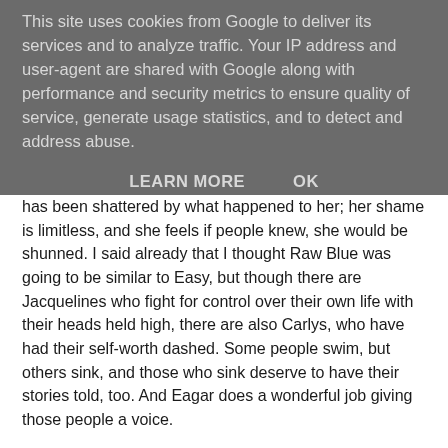This site uses cookies from Google to deliver its services and to analyze traffic. Your IP address and user-agent are shared with Google along with performance and security metrics to ensure quality of service, generate usage statistics, and to detect and address abuse.
LEARN MORE    OK
has been shattered by what happened to her; her shame is limitless, and she feels if people knew, she would be shunned. I said already that I thought Raw Blue was going to be similar to Easy, but though there are Jacquelines who fight for control over their own life with their heads held high, there are also Carlys, who have had their self-worth dashed. Some people swim, but others sink, and those who sink deserve to have their stories told, too. And Eagar does a wonderful job giving those people a voice.
The rape happens before the book starts, but we have flashbacks. It's not very graphic, but it doesn't need to be. Inside Carly's head, her pain is enough to hurt you too. Carly is really struggling. She is drowning in her pain, and can't